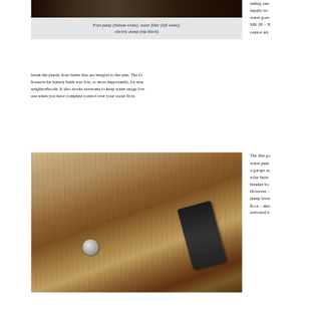[Figure (photo): Photo of foot pump (bottom white), water filter (left white), and electric pump (top black) mounted together]
Foot pump (bottom white), water filter (left white), electric pump (top black)
tubing rate... supply sto... water goes... MK III – X... cannot acc...
break the plastic hose barbs that are integral to the unit. The fo... house/solar battery bank was low, or more importantly, for stea... neighborhoods. It also works awesome to keep water usage low... use when you have complete control over your water flow.
[Figure (photo): Photo of wooden wall/floor showing plumbing components including what appears to be a pump lever and cylinder mounted to wood]
The line go... water pum... a garage sa... solar batte... breaker bo... However –... pump lever... floor – the... activated b...